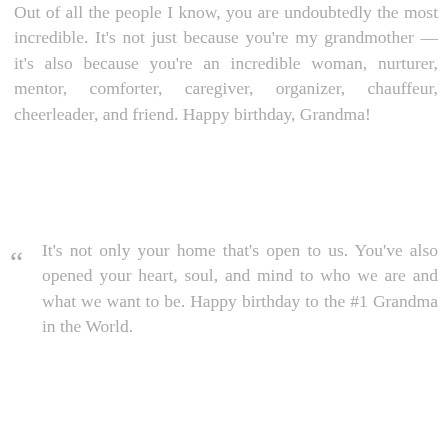Out of all the people I know, you are undoubtedly the most incredible. It's not just because you're my grandmother — it's also because you're an incredible woman, nurturer, mentor, comforter, caregiver, organizer, chauffeur, cheerleader, and friend. Happy birthday, Grandma!
“ It’s not only your home that’s open to us. You’ve also opened your heart, soul, and mind to who we are and what we want to be. Happy birthday to the #1 Grandma in the World.